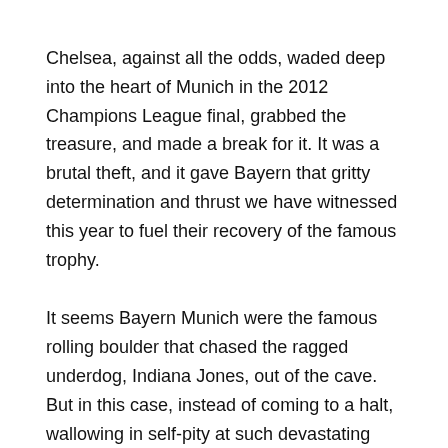Chelsea, against all the odds, waded deep into the heart of Munich in the 2012 Champions League final, grabbed the treasure, and made a break for it. It was a brutal theft, and it gave Bayern that gritty determination and thrust we have witnessed this year to fuel their recovery of the famous trophy.
It seems Bayern Munich were the famous rolling boulder that chased the ragged underdog, Indiana Jones, out of the cave. But in this case, instead of coming to a halt, wallowing in self-pity at such devastating circumstances, the boulder kept on rolling, all the way to England, and Wembley. They have gone full circle; culminating in revenge and redemption.
The need for such success has been brewing in the